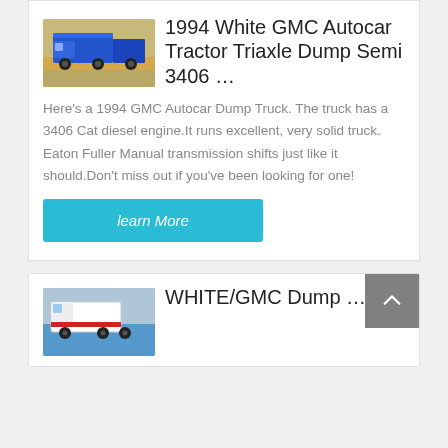[Figure (photo): Blue dump truck parked on dirt road]
1994 White GMC Autocar Tractor Triaxle Dump Semi 3406 …
Here's a 1994 GMC Autocar Dump Truck. The truck has a 3406 Cat diesel engine.It runs excellent, very solid truck. Eaton Fuller Manual transmission shifts just like it should.Don't miss out if you've been looking for one!
learn More
[Figure (photo): White/GMC dump truck partial view]
WHITE/GMC Dump …